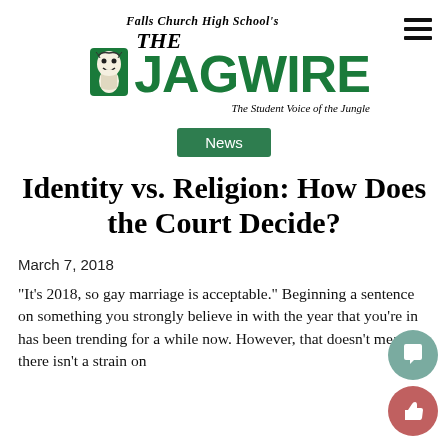[Figure (logo): Falls Church High School's The Jagwire logo with jaguar mascot illustration and tagline 'The Student Voice of the Jungle']
News
Identity vs. Religion: How Does the Court Decide?
March 7, 2018
"It's 2018, so gay marriage is acceptable." Beginning a sentence on something you strongly believe in with the year that you're in has been trending for a while now. However, that doesn't mean there isn't a strain on